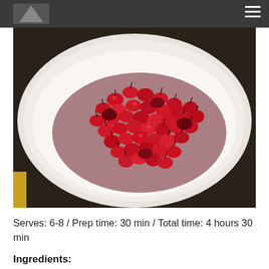[Figure (photo): Overhead photo of a white bowl filled with fresh red cranberries with stems, on a dark wooden surface]
Serves: 6-8 / Prep time: 30 min / Total time: 4 hours 30 min
Ingredients: